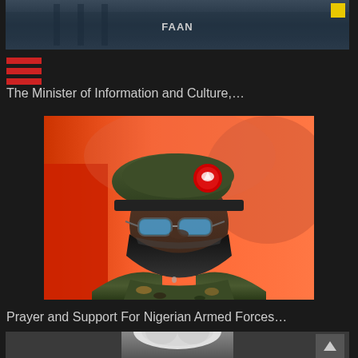[Figure (photo): Top banner image with FAAN text and a yellow square icon, dark blue/teal background]
[Figure (other): Three red horizontal lines forming a hamburger menu icon]
The Minister of Information and Culture,…
[Figure (photo): Nigerian military officer wearing a green beret with red badge, reflective blue-tinted glasses, black face mask, and camouflage uniform. Orange/red blurred background.]
Prayer and Support For Nigerian Armed Forces…
[Figure (photo): Partial view of a person with white/grey hair at the bottom of the page]